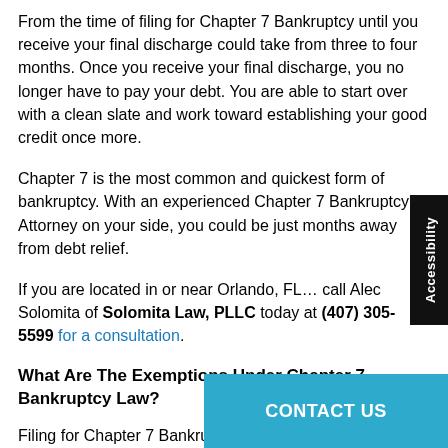From the time of filing for Chapter 7 Bankruptcy until you receive your final discharge could take from three to four months. Once you receive your final discharge, you no longer have to pay your debt. You are able to start over with a clean slate and work toward establishing your good credit once more.
Chapter 7 is the most common and quickest form of bankruptcy. With an experienced Chapter 7 Bankruptcy Attorney on your side, you could be just months away from debt relief.
If you are located in or near Orlando, FL… call Alec Solomita of Solomita Law, PLLC today at (407) 305-5599 for a consultation.
What Are The Exemptions Under Chapter 7 Bankruptcy Law?
Filing for Chapter 7 Bankruptcy can seem intimidating. One aspect of Bankruptcy 7 which might lead to h… liquidation of your assets.